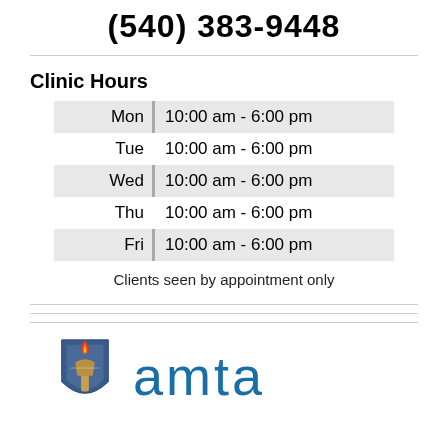(540) 383-9448
| Day | Hours |
| --- | --- |
| Mon | 10:00 am - 6:00 pm |
| Tue | 10:00 am - 6:00 pm |
| Wed | 10:00 am - 6:00 pm |
| Thu | 10:00 am - 6:00 pm |
| Fri | 10:00 am - 6:00 pm |
Clients seen by appointment only
[Figure (logo): Torch/shield logo and AMTA text logo]